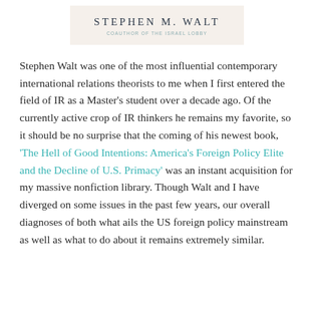[Figure (other): Author header banner with name 'STEPHEN M. WALT' and subtitle 'COAUTHOR OF THE ISRAEL LOBBY' on a beige background]
Stephen Walt was one of the most influential contemporary international relations theorists to me when I first entered the field of IR as a Master's student over a decade ago. Of the currently active crop of IR thinkers he remains my favorite, so it should be no surprise that the coming of his newest book, 'The Hell of Good Intentions: America's Foreign Policy Elite and the Decline of U.S. Primacy' was an instant acquisition for my massive nonfiction library. Though Walt and I have diverged on some issues in the past few years, our overall diagnoses of both what ails the US foreign policy mainstream as well as what to do about it remains extremely similar.